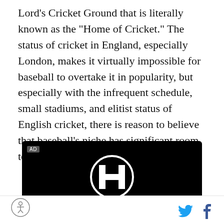Lord’s Cricket Ground that is literally known as the "Home of Cricket." The status of cricket in England, especially London, makes it virtually impossible for baseball to overtake it in popularity, but especially with the infrequent schedule, small stadiums, and elitist status of English cricket, there is reason to believe that baseball’s niche has significant room to grow.
[Figure (other): Honda advertisement on black background featuring the Honda H logo, HONDA wordmark, and 'All-New HR-V' text. AD label in top-left corner.]